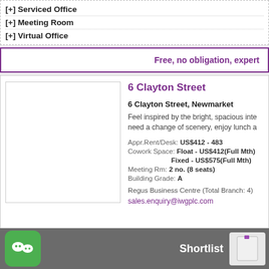[+] Serviced Office
[+] Meeting Room
[+] Virtual Office
Free, no obligation, expert...
6 Clayton Street
6 Clayton Street, Newmarket
Feel inspired by the bright, spacious inte... need a change of scenery, enjoy lunch a...
Appr.Rent/Desk: US$412 - 483
Cowork Space: Float - US$412(Full Mth)
Fixed - US$575(Full Mth)
Meeting Rm: 2 no. (8 seats)
Building Grade: A
Regus Business Centre (Total Branch: 4)
sales.enquiry@iwgplc.com
[Figure (photo): Property image placeholder for 6 Clayton Street]
...ced Office
Shortlist